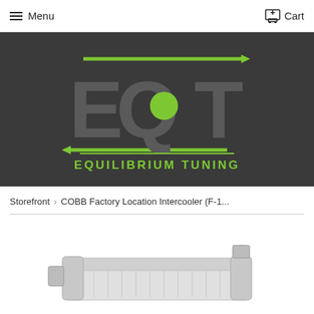Menu  Cart
[Figure (logo): Equilibrium Tuning (EQT) logo on dark background. Large stylized letters E, Q, T in grey with green arrow lines and green circle accent. Text EQUILIBRIUM TUNING below.]
Storefront  >  COBB Factory Location Intercooler (F-1...
[Figure (photo): Partial product photo of a COBB Factory Location Intercooler, showing silver/chrome metal intercooler component at bottom of page.]